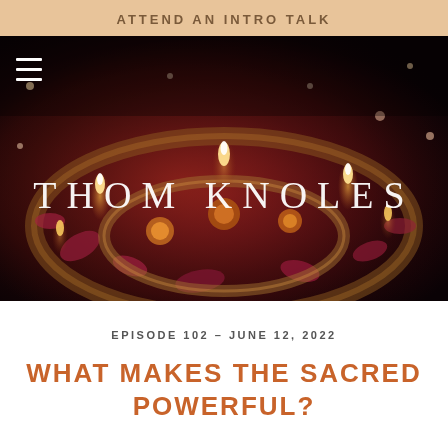ATTEND AN INTRO TALK
[Figure (photo): Hero image showing decorative candles and flower petals arranged in ornate metal trays, with warm glowing lights, overlaid with the text 'THOM KNOLES' and a hamburger menu icon in the top left.]
EPISODE 102 - JUNE 12, 2022
WHAT MAKES THE SACRED POWERFUL?